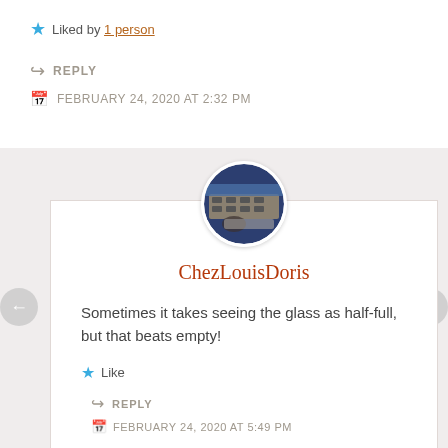★ Liked by 1 person
↪ REPLY
📅 FEBRUARY 24, 2020 AT 2:32 PM
[Figure (photo): Circular avatar photo showing keyboard/studio equipment with blue and dark tones]
ChezLouisDoris
Sometimes it takes seeing the glass as half-full, but that beats empty!
★ Like
↪ REPLY
📅 FEBRUARY 24, 2020 AT 5:49 PM